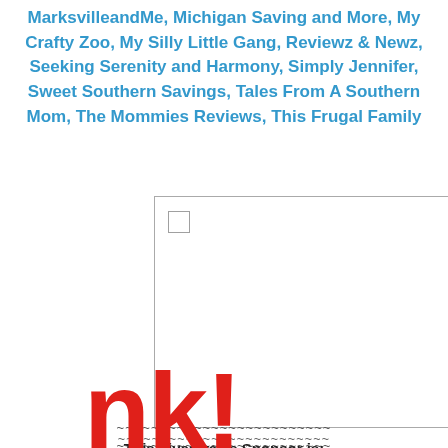MarksvilleandMe, Michigan Saving and More, My Crafty Zoo, My Silly Little Gang, Reviewz & Newz, Seeking Serenity and Harmony, Simply Jennifer, Sweet Southern Savings, Tales From A Southern Mom, The Mommies Reviews, This Frugal Family
[Figure (other): A white rectangle with a small checkbox/square in the top-left corner, bordered with a thin gray line — likely a placeholder image or embedded widget area.]
~~~~~~~~~~~~~~~~~~~~~~~~~
This giveaway's Sponsor is:
[Figure (logo): Partial red bold logo text visible at the bottom of the page, appears to be a brand logo in large red letters.]